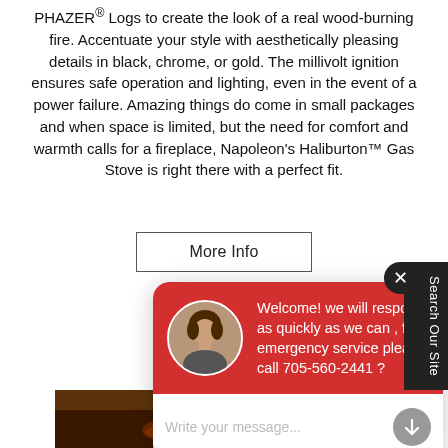PHAZER® Logs to create the look of a real wood-burning fire. Accentuate your style with aesthetically pleasing details in black, chrome, or gold. The millivolt ignition ensures safe operation and lighting, even in the event of a power failure. Amazing things do come in small packages and when space is limited, but the need for comfort and warmth calls for a fireplace, Napoleon's Haliburton™ Gas Stove is right there with a perfect fit.
More Info
Welcome! we will respond as quickly as we can , for emergency service please call 705-560-2441 ?
Write your message...
[Figure (photo): Bottom portion of a fireplace photo]